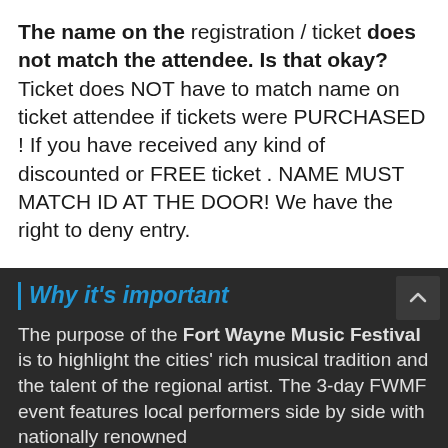The name on the registration / ticket does not match the attendee. Is that okay? Ticket does NOT have to match name on ticket attendee if tickets were PURCHASED ! If you have received any kind of discounted or FREE ticket . NAME MUST MATCH ID AT THE DOOR! We have the right to deny entry.
There will be no refunds once tickets are purchased
Why it's important
The purpose of the Fort Wayne Music Festival is to highlight the cities' rich musical tradition and the talent of the regional artist. The 3-day FWMF event features local performers side by side with nationally renowned